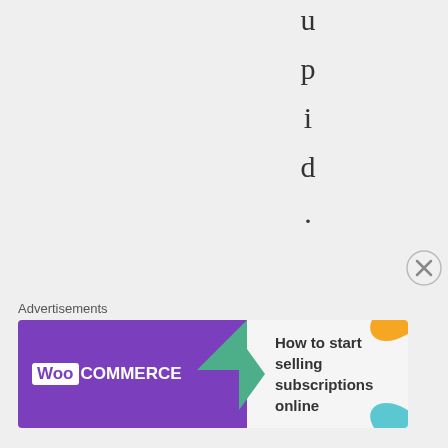u p i d .
★ Like by 1 pers
↩ Reply
[Figure (illustration): Sunflower emoji/icon]
Advertisements
[Figure (other): WooCommerce advertisement banner: 'How to start selling subscriptions online']